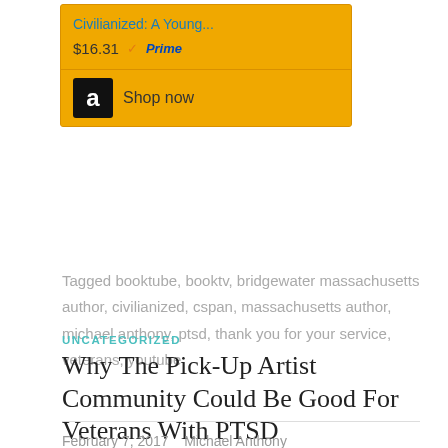[Figure (other): Amazon product ad widget showing 'Civilianized: A Young...' priced at $16.31 with Prime, featuring an Amazon 'Shop now' button on a golden/orange background]
Tagged booktube, booktv, bridgewater massachusetts author, civilianized, cspan, massachusetts author, michael anthony, ptsd, thank you for your service, veterans, youtube
UNCATEGORIZED
Why The Pick-Up Artist Community Could Be Good For Veterans With PTSD
February 7, 2017   Michael Anthony